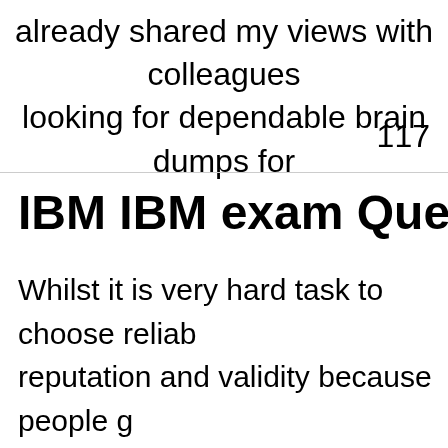already shared my views with colleagues looking for dependable brain dumps for
117
IBM IBM exam Question
Whilst it is very hard task to choose reliab reputation and validity because people g make it sure to provide its clients far bett update and validity. Most of other peoples brain dumps and pass their exams enjoy review, reputation and quality because ki client self confidence is important to all o